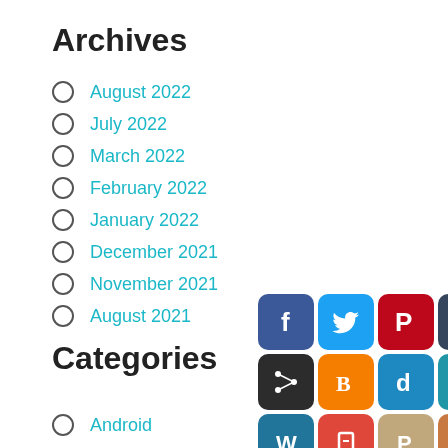Archives
August 2022
July 2022
March 2022
February 2022
January 2022
December 2021
November 2021
August 2021
[Figure (infographic): Grid of 15 social media sharing icons: Facebook, Twitter, Pinterest, Tumblr, Reddit, ShareThis, Blogger, Digg, Feedly, Instapaper, WordPress, Pocket, PrintFriendly, Yumprint, AddToAny]
Categories
Android